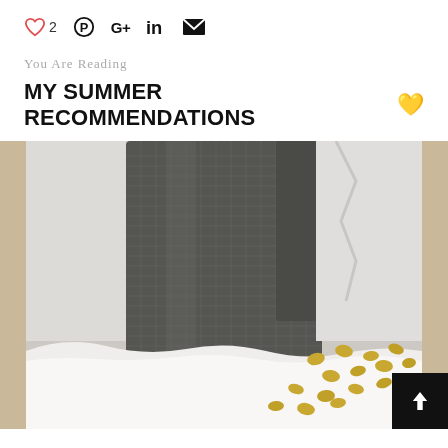♡ 2  ⊕  G+  in  ✉
You Are Reading
MY SUMMER RECOMMENDATIONS 💛
[Figure (photo): Close-up photo of a gray tweed/woven blazer jacket with white fabric in background, and scattered golden/yellow oval confetti pieces on a white fluffy surface in the lower right. Image has tan/beige border on left and right sides.]